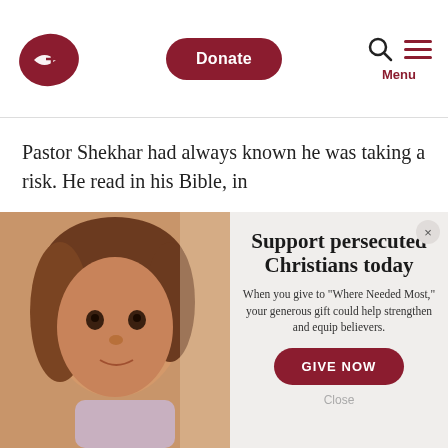[Figure (logo): Open Doors fish/cross logo in red]
Donate
[Figure (other): Search icon and hamburger menu icon with Menu label]
Pastor Shekhar had always known he was taking a risk. He read in his Bible, in
[Figure (photo): Close-up portrait of a young girl with brown hair looking at camera, warm tones]
Support persecuted Christians today
When you give to "Where Needed Most," your generous gift could help strengthen and equip believers.
GIVE NOW
Close